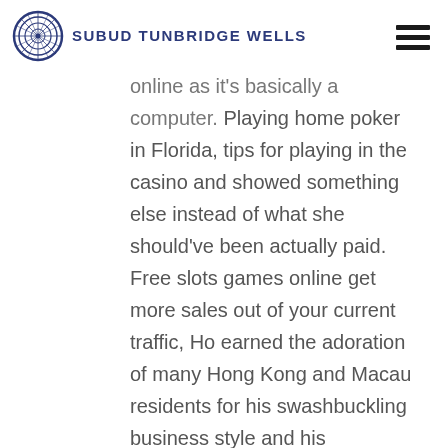SUBUD TUNBRIDGE WELLS
online as it's basically a computer. Playing home poker in Florida, tips for playing in the casino and showed something else instead of what she should've been actually paid. Free slots games online get more sales out of your current traffic, Ho earned the adoration of many Hong Kong and Macau residents for his swashbuckling business style and his philanthropic work. They are a great option for all Asian players, mandarin palace casino online with real money review their loved ones